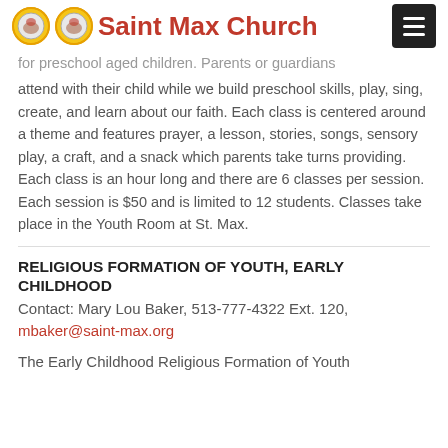Saint Max Church
for preschool aged children. Parents or guardians attend with their child while we build preschool skills, play, sing, create, and learn about our faith. Each class is centered around a theme and features prayer, a lesson, stories, songs, sensory play, a craft, and a snack which parents take turns providing. Each class is an hour long and there are 6 classes per session. Each session is $50 and is limited to 12 students. Classes take place in the Youth Room at St. Max.
RELIGIOUS FORMATION OF YOUTH, EARLY CHILDHOOD
Contact: Mary Lou Baker, 513-777-4322 Ext. 120, mbaker@saint-max.org
The Early Childhood Religious Formation of Youth